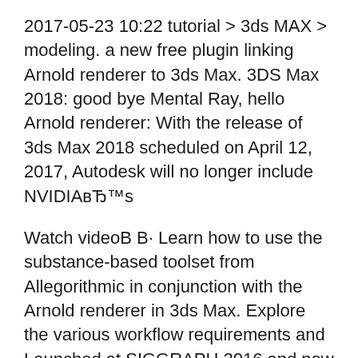2017-05-23 10:22 tutorial > 3ds MAX > modeling. a new free plugin linking Arnold renderer to 3ds Max. 3DS Max 2018: good bye Mental Ray, hello Arnold renderer: With the release of 3ds Max 2018 scheduled on April 12, 2017, Autodesk will no longer include NVIDIAвЂ™s
Watch videoВ В· Learn how to use the substance-based toolset from Allegorithmic in conjunction with the Arnold renderer in 3ds Max. Explore the various workflow requirements and Launched at SIGGRAPH 2016 and now with Arnold 5.0, Arnold for 3ds Max (or MAXtoA) is bundled standard with 3ds Max 2018, providing a bridge to the Arnold renderer
It is full offline installer standalone setup of